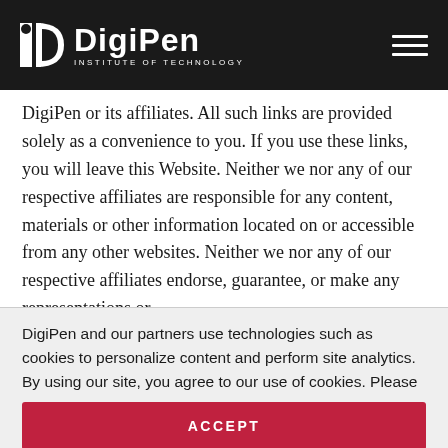DigiPen Institute of Technology
DigiPen or its affiliates. All such links are provided solely as a convenience to you. If you use these links, you will leave this Website. Neither we nor any of our respective affiliates are responsible for any content, materials or other information located on or accessible from any other websites. Neither we nor any of our respective affiliates endorse, guarantee, or make any representations or
DigiPen and our partners use technologies such as cookies to personalize content and perform site analytics. By using our site, you agree to our use of cookies. Please see our Privacy Policy for more information.
ACCEPT